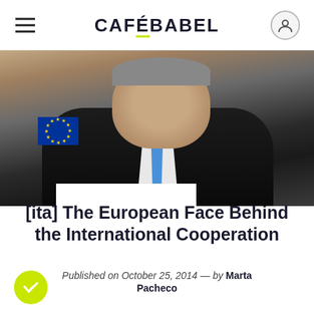CAFEBABEL
[Figure (photo): An older man in a dark suit with a blue tie seated at a table, with a European Union flag visible in the background at what appears to be an official European parliamentary or institutional setting.]
[ita] The European Face Behind the International Cooperation
Published on October 25, 2014 — by Marta Pacheco